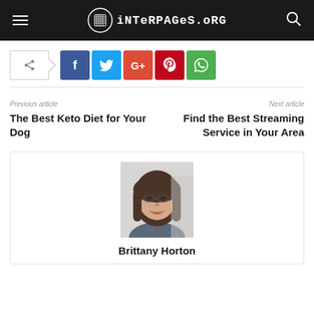iNTERPAGES.ORG
[Figure (screenshot): Social share buttons: share trigger, Facebook, Twitter, Google+, Pinterest, WhatsApp]
Previous article
The Best Keto Diet for Your Dog
Next article
Find the Best Streaming Service in Your Area
[Figure (photo): Author photo of Brittany Horton — a young woman smiling, wearing glasses]
Brittany Horton